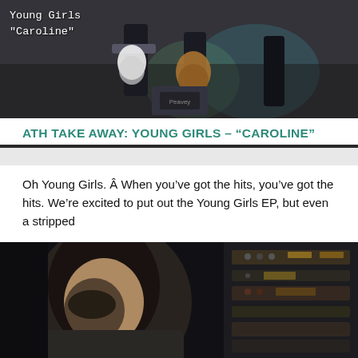[Figure (photo): Three band members playing guitars in front of a mural wall. White monospace text overlay reads: Young Girls "Caroline"]
ATH TAKE AWAY: YOUNG GIRLS – “CAROLINE”
Oh Young Girls. Â When you’ve got the hits, you’ve got the hits. We’re excited to put out the Young Girls EP, but even a stripped
[Figure (photo): Close-up of a person with long hair leaning over, with audio recording equipment in the background.]